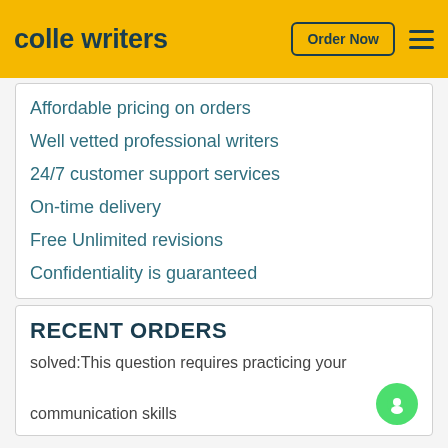colle writers  Order Now
Affordable pricing on orders
Well vetted professional writers
24/7 customer support services
On-time delivery
Free Unlimited revisions
Confidentiality is guaranteed
RECENT ORDERS
solved:This question requires practicing your communication skills